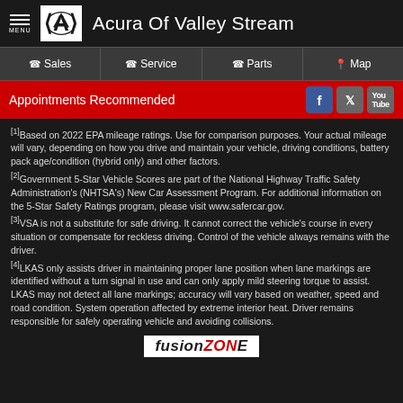Acura Of Valley Stream
Sales  Service  Parts  Map
Appointments Recommended
[1]Based on 2022 EPA mileage ratings. Use for comparison purposes. Your actual mileage will vary, depending on how you drive and maintain your vehicle, driving conditions, battery pack age/condition (hybrid only) and other factors.
[2]Government 5-Star Vehicle Scores are part of the National Highway Traffic Safety Administration's (NHTSA's) New Car Assessment Program. For additional information on the 5-Star Safety Ratings program, please visit www.safercar.gov.
[3]VSA is not a substitute for safe driving. It cannot correct the vehicle's course in every situation or compensate for reckless driving. Control of the vehicle always remains with the driver.
[4]LKAS only assists driver in maintaining proper lane position when lane markings are identified without a turn signal in use and can only apply mild steering torque to assist. LKAS may not detect all lane markings; accuracy will vary based on weather, speed and road condition. System operation affected by extreme interior heat. Driver remains responsible for safely operating vehicle and avoiding collisions.
[Figure (logo): FusionZone logo at the bottom of the page]